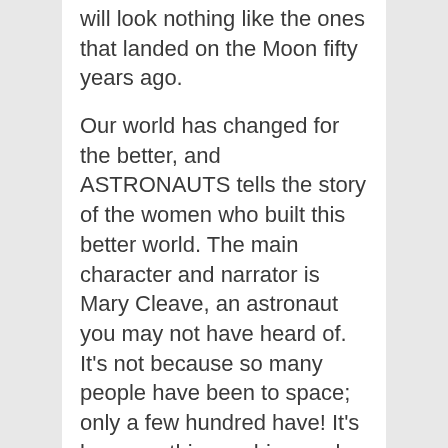will look nothing like the ones that landed on the Moon fifty years ago.
Our world has changed for the better, and ASTRONAUTS tells the story of the women who built this better world. The main character and narrator is Mary Cleave, an astronaut you may not have heard of. It's not because so many people have been to space; only a few hundred have! It's because this graphic novel isn't about fame. No astronaut you'll ever meet took the...